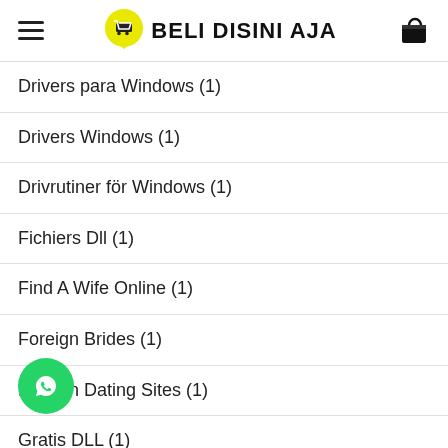BELI DISINI AJA
Drivers para Windows (1)
Drivers Windows (1)
Drivrutiner för Windows (1)
Fichiers Dll (1)
Find A Wife Online (1)
Foreign Brides (1)
Foreign Dating Sites (1)
Gratis DLL (1)
h… sites (1)
hookupfriendfinder.net (1)